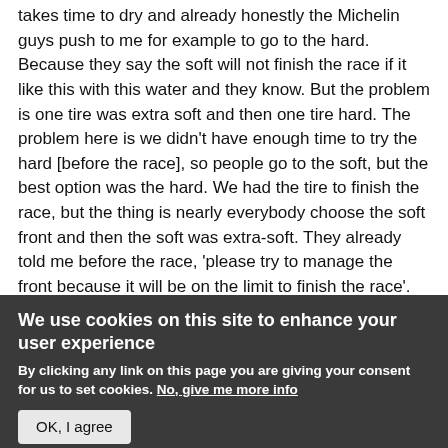takes time to dry and already honestly the Michelin guys push to me for example to go to the hard. Because they say the soft will not finish the race if it like this with this water and they know. But the problem is one tire was extra soft and then one tire hard. The problem here is we didn't have enough time to try the hard [before the race], so people go to the soft, but the best option was the hard. We had the tire to finish the race, but the thing is nearly everybody choose the soft front and then the soft was extra-soft. They already told me before the race, 'please try to manage the front because it will be on the limit to finish the race'.
Q: What did your tire look like at end?
We use cookies on this site to enhance your user experience
By clicking any link on this page you are giving your consent for us to set cookies. No, give me more info
OK, I agree